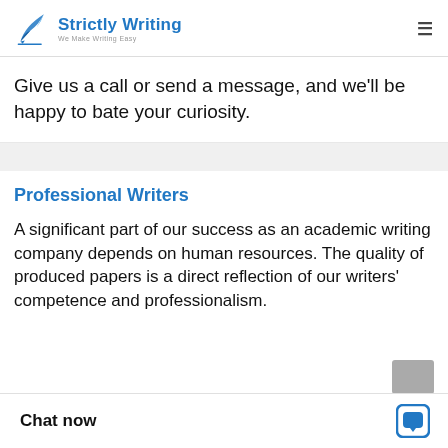Strictly Writing — We Make Writing Easy
Give us a call or send a message, and we'll be happy to bate your curiosity.
Professional Writers
A significant part of our success as an academic writing company depends on human resources. The quality of produced papers is a direct reflection of our writers' competence and professionalism.
Chat now